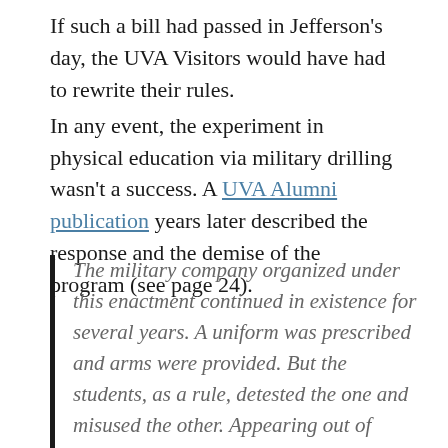If such a bill had passed in Jefferson's day, the UVA Visitors would have had to rewrite their rules.
In any event, the experiment in physical education via military drilling wasn't a success. A UVA Alumni publication years later described the response and the demise of the program (see page 24).
The military company organized under this enactment continued in existence for several years. A uniform was prescribed and arms were provided. But the students, as a rule, detested the one and misused the other. Appearing out of uniform at unseasonable times